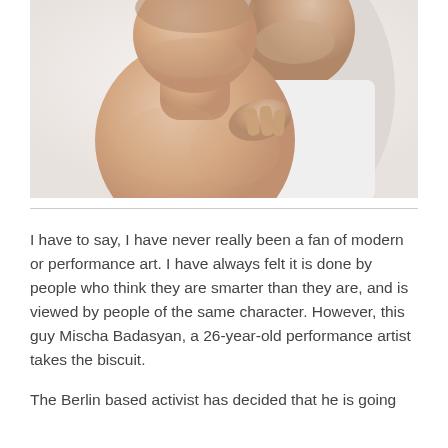[Figure (photo): Two men posing together against a white background; one shirtless man in the foreground, another man in a white tank top behind him with his hand on the first man's chest.]
I have to say, I have never really been a fan of modern or performance art. I have always felt it is done by people who think they are smarter than they are, and is viewed by people of the same character. However, this guy Mischa Badasyan, a 26-year-old performance artist takes the biscuit.
The Berlin based activist has decided that he is going